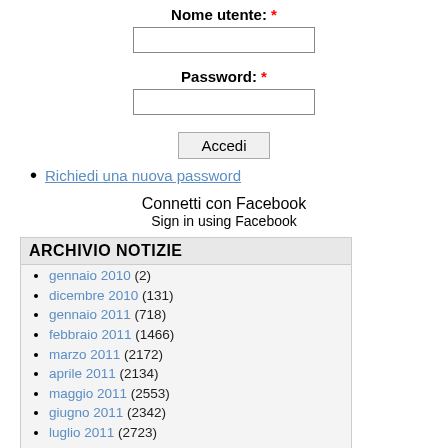Nome utente: *
Password: *
Accedi
Richiedi una nuova password
Connetti con Facebook
Sign in using Facebook
ARCHIVIO NOTIZIE
gennaio 2010 (2)
dicembre 2010 (131)
gennaio 2011 (718)
febbraio 2011 (1466)
marzo 2011 (2172)
aprile 2011 (2134)
maggio 2011 (2553)
giugno 2011 (2342)
luglio 2011 (2723)
agosto 2011 (1559)
1  2  3  4  5  6
7  8  9  …  seguente ›
ultima »